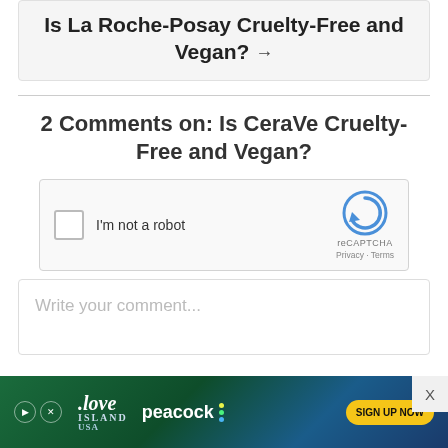Is La Roche-Posay Cruelty-Free and Vegan? →
2 Comments on: Is CeraVe Cruelty-Free and Vegan?
[Figure (screenshot): reCAPTCHA widget with checkbox labeled 'I'm not a robot' and reCAPTCHA branding with Privacy and Terms links]
Write your comment...
[Figure (screenshot): Love Island USA advertisement banner on Peacock with 'SIGN UP NOW' button]